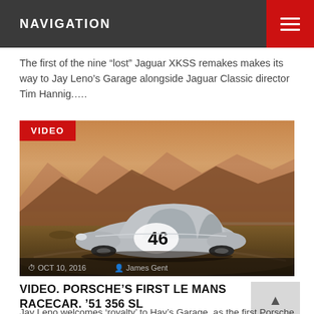NAVIGATION
The first of the nine “lost” Jaguar XKSS remakes makes its way to Jay Leno’s Garage alongside Jaguar Classic director Tim Hannig....
[Figure (photo): Vintage silver Porsche 356 SL race car with number 46 on a race track, with mountains and warm sunset sky in background. VIDEO badge overlay top-left. Date OCT 10, 2016 and author James Gent shown at bottom.]
VIDEO. PORSCHE’S FIRST LE MANS RACECAR. ’51 356 SL
Jay Leno welcomes ‘royalty’ to Hay’s Garage, as the first Porsche to